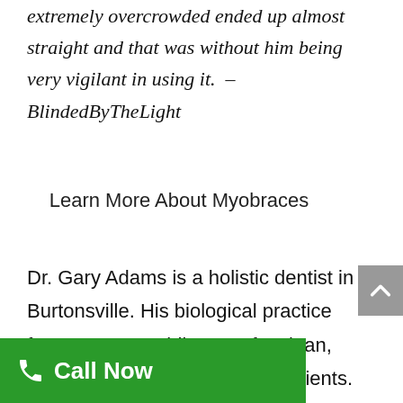extremely overcrowded ended up almost straight and that was without him being very vigilant in using it.  – BlindedByTheLight
Learn More About Myobraces
Dr. Gary Adams is a holistic dentist in Burtonsville. His biological practice focuses on providing a safe, clean, and healthy environment for patients. The practice is a mercury-free and fluoride-free All of our holistic dental services